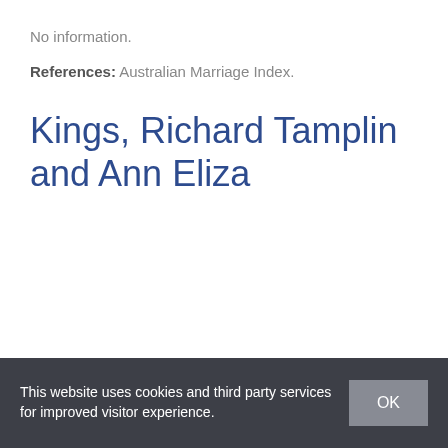No information.
References: Australian Marriage Index.
Kings, Richard Tamplin and Ann Eliza
This website uses cookies and third party services for improved visitor experience.